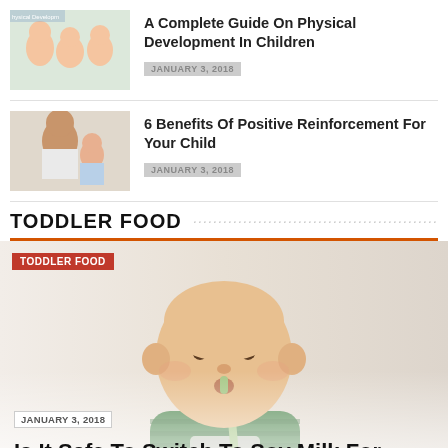[Figure (photo): Thumbnail showing babies/children for physical development article]
A Complete Guide On Physical Development In Children
JANUARY 3, 2018
[Figure (photo): Thumbnail showing parent with child for positive reinforcement article]
6 Benefits Of Positive Reinforcement For Your Child
JANUARY 3, 2018
TODDLER FOOD
TODDLER FOOD
JANUARY 3, 2018
[Figure (photo): Baby in green striped shirt drinking from a glass with a straw]
Is It Safe To Switch To Soy Milk For Toddlers?